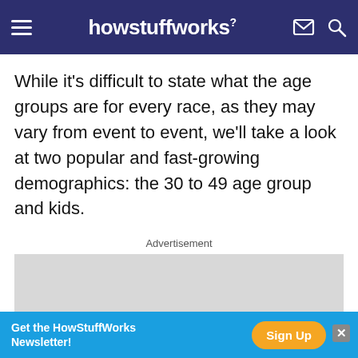howstuffworks
While it's difficult to state what the age groups are for every race, as they may vary from event to event, we'll take a look at two popular and fast-growing demographics: the 30 to 49 age group and kids.
Advertisement
[Figure (other): Gray advertisement placeholder box]
[Figure (other): Bottom banner: Get the HowStuffWorks Newsletter! with Sign Up button]